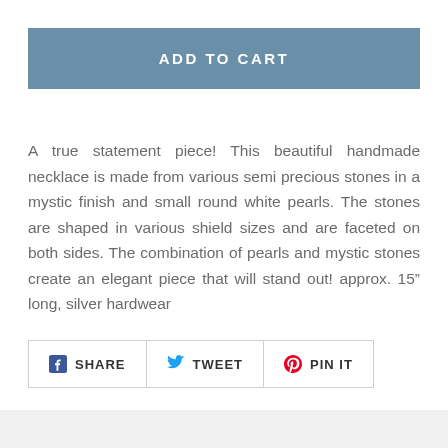ADD TO CART
A true statement piece! This beautiful handmade necklace is made from various semi precious stones in a mystic finish and small round white pearls. The stones are shaped in various shield sizes and are faceted on both sides. The combination of pearls and mystic stones create an elegant piece that will stand out! approx. 15” long, silver hardwear
SHARE  TWEET  PIN IT